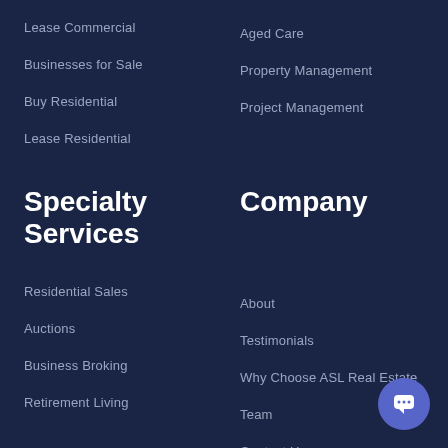Lease Commercial
Businesses for Sale
Buy Residential
Lease Residential
Aged Care
Property Management
Project Management
Specialty Services
Company
Residential Sales
Auctions
Business Broking
Retirement Living
About
Testimonials
Why Choose ASL Real Estate
Team
Contact Us
Privacy Statement